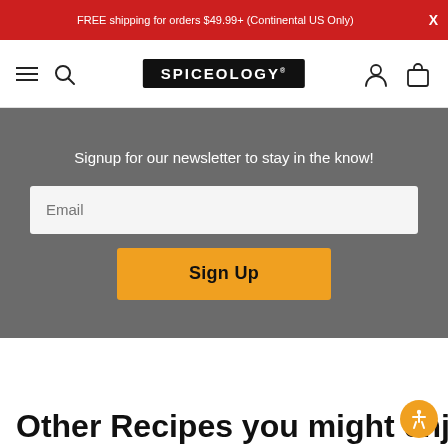FREE shipping for orders $49.99+ (Continental US Only)
[Figure (screenshot): Spiceology website navigation bar with hamburger menu, search icon, Spiceology logo, user account icon, and shopping bag icon]
Signup for our newsletter to stay in the know!
Email
Sign Up
Other Recipes you might enjoy